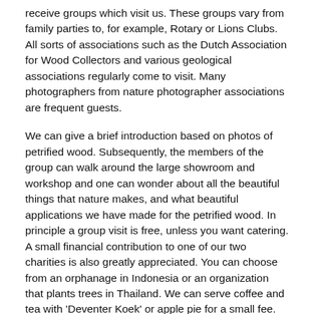receive groups which visit us. These groups vary from family parties to, for example, Rotary or Lions Clubs. All sorts of associations such as the Dutch Association for Wood Collectors and various geological associations regularly come to visit. Many photographers from nature photographer associations are frequent guests.
We can give a brief introduction based on photos of petrified wood. Subsequently, the members of the group can walk around the large showroom and workshop and one can wonder about all the beautiful things that nature makes, and what beautiful applications we have made for the petrified wood. In principle a group visit is free, unless you want catering. A small financial contribution to one of our two charities is also greatly appreciated. You can choose from an orphanage in Indonesia or an organization that plants trees in Thailand. We can serve coffee and tea with 'Deventer Koek' or apple pie for a small fee. You can have your trip catered for. We can advise you on this.
For information about group visits you can contact us: +31